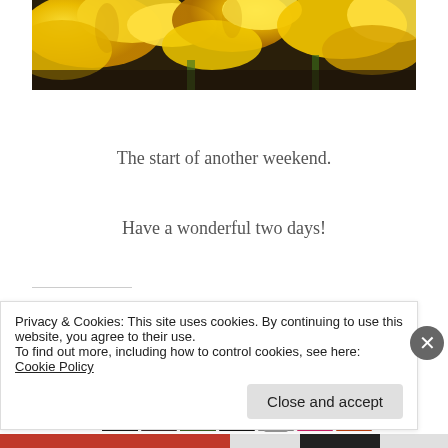[Figure (photo): Close-up photo of yellow daffodil flowers with green stems, cropped at top of page]
The start of another weekend.
Have a wonderful two days!
Share this:
[Figure (illustration): Twitter and Facebook circular social share icons (blue circles with bird and f logos)]
[Figure (illustration): Like button with star icon followed by a strip of user avatar thumbnails]
Privacy & Cookies: This site uses cookies. By continuing to use this website, you agree to their use. To find out more, including how to control cookies, see here: Cookie Policy
Close and accept